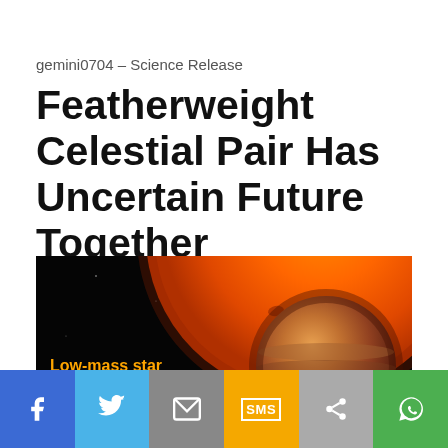gemini0704 – Science Release
Featherweight Celestial Pair Has Uncertain Future Together
4 April 2007
[Figure (photo): Astronomical illustration showing a large orange low-mass star in the upper right, a medium brown dwarf in the center-right, and a smaller banded object in the lower right, all against a black space background. Labels on the image read 'Low-mass star' in orange and 'Brown Dwarf' in gold.]